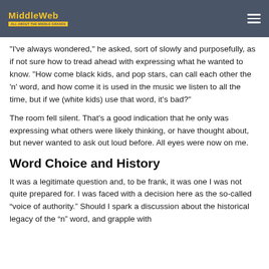MiddleWeb
"I've always wondered," he asked, sort of slowly and purposefully, as if not sure how to tread ahead with expressing what he wanted to know. "How come black kids, and pop stars, can call each other the 'n' word, and how come it is used in the music we listen to all the time, but if we (white kids) use that word, it's bad?"
The room fell silent. That's a good indication that he only was expressing what others were likely thinking, or have thought about, but never wanted to ask out loud before. All eyes were now on me.
Word Choice and History
It was a legitimate question and, to be frank, it was one I was not quite prepared for. I was faced with a decision here as the so-called “voice of authority.” Should I spark a discussion about the historical legacy of the “n” word, and grapple with